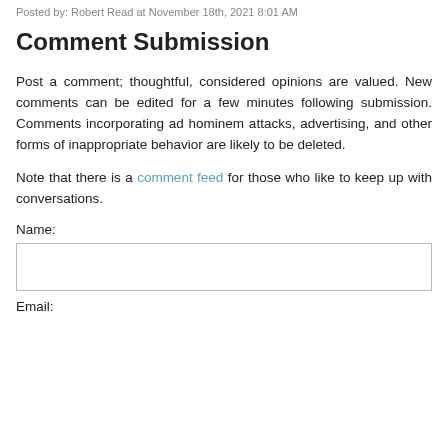Posted by: Robert Read at November 18th, 2021 8:01 AM
Comment Submission
Post a comment; thoughtful, considered opinions are valued. New comments can be edited for a few minutes following submission. Comments incorporating ad hominem attacks, advertising, and other forms of inappropriate behavior are likely to be deleted.
Note that there is a comment feed for those who like to keep up with conversations.
Name:
Email: